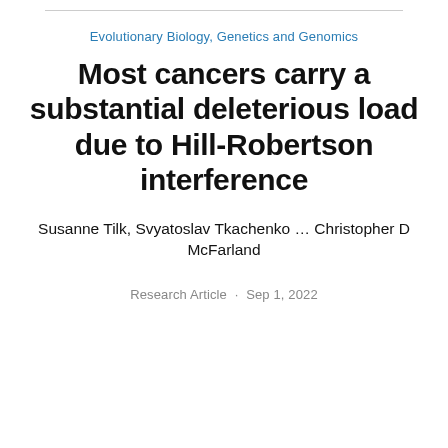Evolutionary Biology, Genetics and Genomics
Most cancers carry a substantial deleterious load due to Hill-Robertson interference
Susanne Tilk, Svyatoslav Tkachenko … Christopher D McFarland
Research Article · Sep 1, 2022